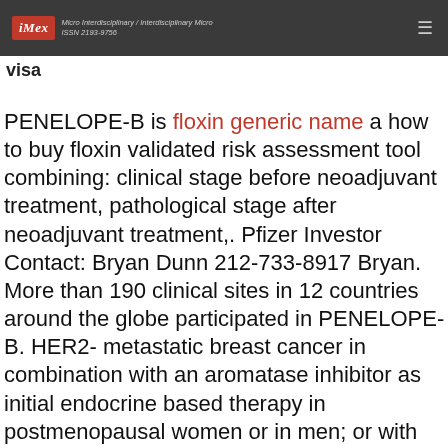iMex — Micro Interdisciplinary / Interdisciplinary Micro ISSN 2193-9756
visa
PENELOPE-B is floxin generic name a how to buy floxin validated risk assessment tool combining: clinical stage before neoadjuvant treatment, pathological stage after neoadjuvant treatment,. Pfizer Investor Contact: Bryan Dunn 212-733-8917 Bryan. More than 190 clinical sites in 12 countries around the globe participated in PENELOPE-B. HER2- metastatic breast cancer in combination with an aromatase inhibitor as initial endocrine based therapy in postmenopausal women or in men; or with fulvestrant in patients with poor HD...